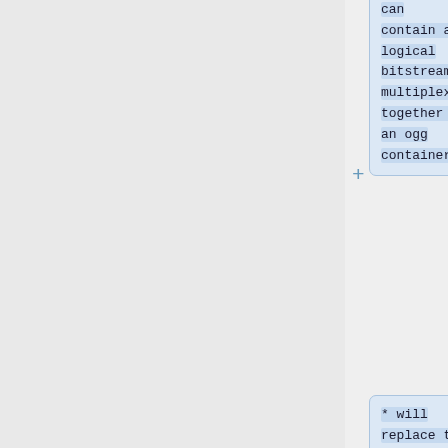can contain any logical bitstreams multiplexed together in an ogg container
* will replace the .ogg extension from RFC 3534
* random multitrack files MUST contain a [[Skeleton]] track to identify all